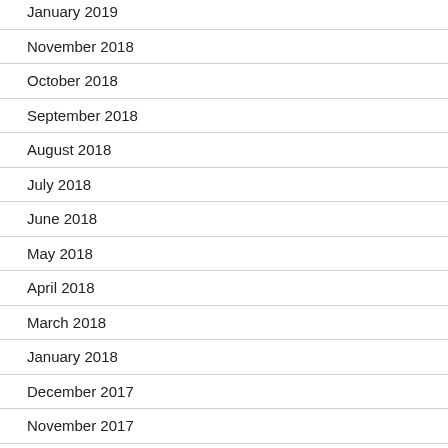January 2019
November 2018
October 2018
September 2018
August 2018
July 2018
June 2018
May 2018
April 2018
March 2018
January 2018
December 2017
November 2017
October 2017